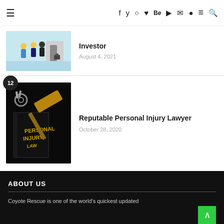≡  f  ✦  ◎  ✿  Be  ▶  ✉  ◉  ≡  🔍
Investor
August 4, 2021
Reputable Personal Injury Lawyer
October 28, 2020
ABOUT US
Coyote Rescue is one of the world's quickest updated